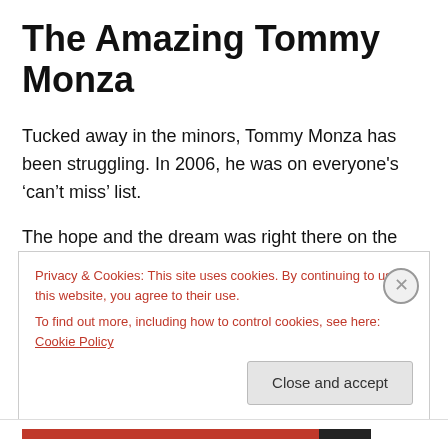The Amazing Tommy Monza
Tucked away in the minors, Tommy Monza has been struggling. In 2006, he was on everyone's ‘can’t miss’ list.
The hope and the dream was right there on the sandlot of Scottsdale's Horizon High. Famed for developing players that reached ‘The Show’ including Brandon Wood and Tim Alderson, Tommy was cast into the limelight early. As is custom in Arizona, in a land where former ballplayers and scouts gather at the drop of a dime or where ever a free
Privacy & Cookies: This site uses cookies. By continuing to use this website, you agree to their use.
To find out more, including how to control cookies, see here: Cookie Policy
Close and accept